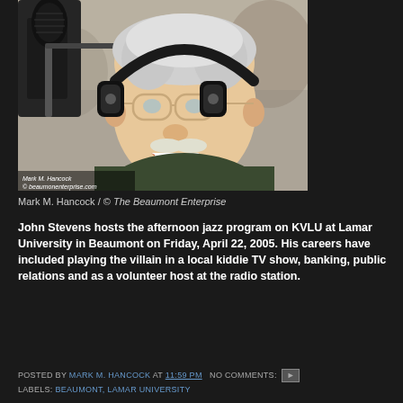[Figure (photo): Elderly man with white hair, glasses, and a mustache wearing headphones and sitting in front of a microphone, smiling broadly. He is wearing a dark green shirt. Photo credit: Mark M. Hancock / © beaumonenterprise.com]
Mark M. Hancock / © The Beaumont Enterprise
John Stevens hosts the afternoon jazz program on KVLU at Lamar University in Beaumont on Friday, April 22, 2005. His careers have included playing the villain in a local kiddie TV show, banking, public relations and as a volunteer host at the radio station.
POSTED BY MARK M. HANCOCK AT 11:59 PM   NO COMMENTS:   LABELS: BEAUMONT, LAMAR UNIVERSITY